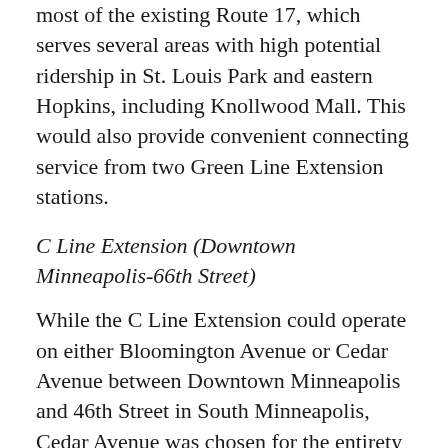most of the existing Route 17, which serves several areas with high potential ridership in St. Louis Park and eastern Hopkins, including Knollwood Mall. This would also provide convenient connecting service from two Green Line Extension stations.
C Line Extension (Downtown Minneapolis–66th Street)
While the C Line Extension could operate on either Bloomington Avenue or Cedar Avenue between Downtown Minneapolis and 46th Street in South Minneapolis, Cedar Avenue was chosen for the entirety of the route due to the simple north-south routing structure. However, further study of ridership trends and community feedback would be needed to determine the best alignment. Ultimately, the C Line Extension would go as far south as 66th Street in Richfield.